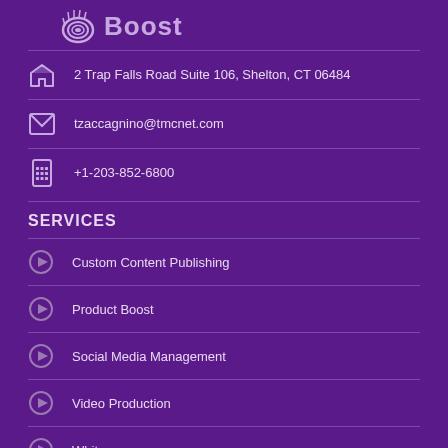[Figure (logo): Content Boost logo with shell/spiral icon and bold text 'Boost']
2 Trap Falls Road Suite 106, Shelton, CT 06484
tzaccagnino@tmcnet.com
+1-203-852-6800
SERVICES
Custom Content Publishing
Product Boost
Social Media Management
Video Production
Whitepapers